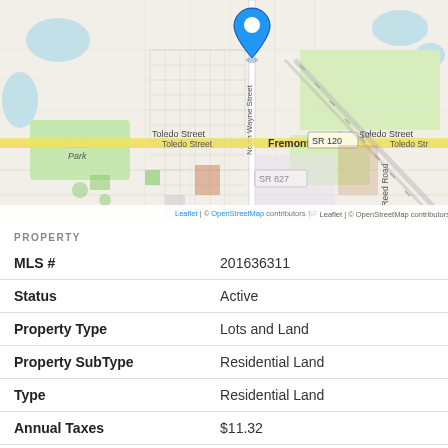[Figure (map): OpenStreetMap showing Fremont, Indiana area with a blue location pin marker near North Wayne Street. Shows Vistula Park to the left, Toledo Street running east-west, SR 120, SR 827, Reed Road, and surrounding street grid. Leaflet and OpenStreetMap attribution at bottom.]
PROPERTY
| Field | Value |
| --- | --- |
| MLS # | 201636311 |
| Status | Active |
| Property Type | Lots and Land |
| Property SubType | Residential Land |
| Type | Residential Land |
| Annual Taxes | $11.32 |
| Year Taxes Payable | 2022 |